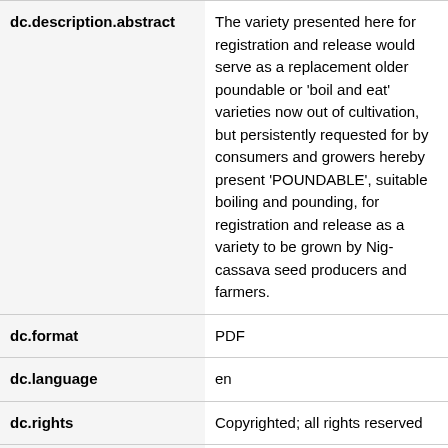| Field | Value |
| --- | --- |
| dc.description.abstract | The variety presented here for registration and release would serve as a replacement older poundable or 'boil and eat' varieties now out of cultivation, but persistently requested for by consumers and growers hereby present 'POUNDABLE', suitable for boiling and pounding, for registration and release as a variety to be grown by Nigerian cassava seed producers and farmers. |
| dc.format | PDF |
| dc.language | en |
| dc.rights | Copyrighted; all rights reserved |
| dc.subject | Cassava |
| dc.title | Nomination of Cassava Variety, Poundable (TMEB693), for Registration and Release for Fresh Roots Markets in Nigeria |
| dc.type | Report |